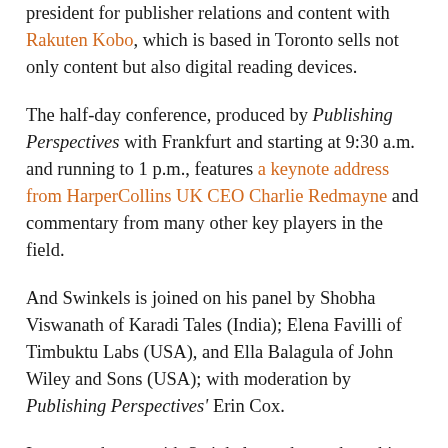president for publisher relations and content with Rakuten Kobo, which is based in Toronto sells not only content but also digital reading devices.
The half-day conference, produced by Publishing Perspectives with Frankfurt and starting at 9:30 a.m. and running to 1 p.m., features a keynote address from HarperCollins UK CEO Charlie Redmayne and commentary from many other key players in the field.
And Swinkels is joined on his panel by Shobha Viswanath of Karadi Tales (India); Elena Favilli of Timbuktu Labs (USA), and Ella Balagula of John Wiley and Sons (USA); with moderation by Publishing Perspectives' Erin Cox.
In our exchange with Swinkels, we began by asking him about short-form content and serialization. What's needed, he says,